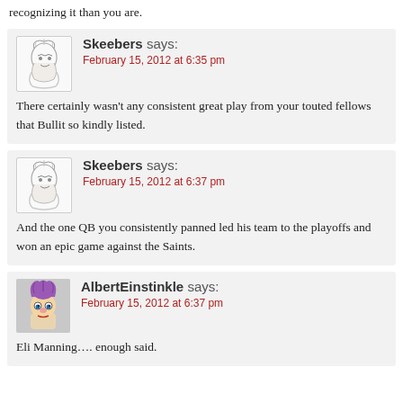recognizing it than you are.
Skeebers says:
February 15, 2012 at 6:35 pm
There certainly wasn't any consistent great play from your touted fellows that Bullit so kindly listed.
Skeebers says:
February 15, 2012 at 6:37 pm
And the one QB you consistently panned led his team to the playoffs and won an epic game against the Saints.
AlbertEinstinkle says:
February 15, 2012 at 6:37 pm
Eli Manning…. enough said.